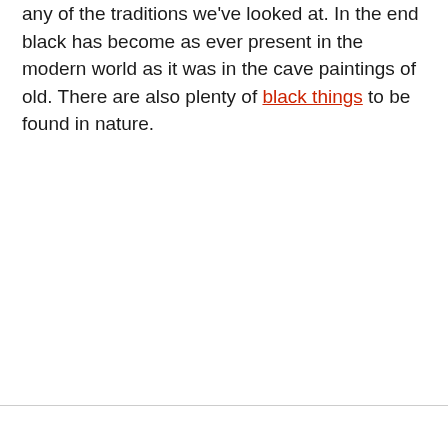any of the traditions we've looked at. In the end black has become as ever present in the modern world as it was in the cave paintings of old. There are also plenty of black things to be found in nature.